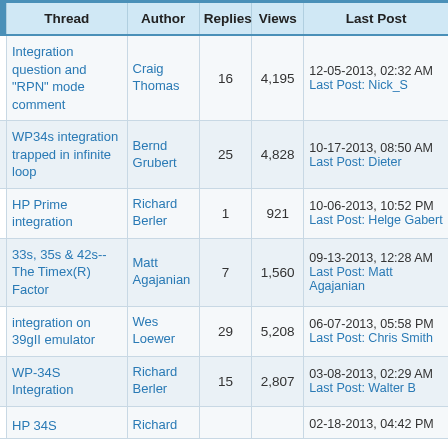|  | Thread | Author | Replies | Views | Last Post |
| --- | --- | --- | --- | --- | --- |
|  | Integration question and "RPN" mode comment | Craig Thomas | 16 | 4,195 | 12-05-2013, 02:32 AM
Last Post: Nick_S |
|  | WP34s integration trapped in infinite loop | Bernd Grubert | 25 | 4,828 | 10-17-2013, 08:50 AM
Last Post: Dieter |
|  | HP Prime integration | Richard Berler | 1 | 921 | 10-06-2013, 10:52 PM
Last Post: Helge Gabert |
|  | 33s, 35s & 42s--The Timex(R) Factor | Matt Agajanian | 7 | 1,560 | 09-13-2013, 12:28 AM
Last Post: Matt Agajanian |
|  | integration on 39gII emulator | Wes Loewer | 29 | 5,208 | 06-07-2013, 05:58 PM
Last Post: Chris Smith |
|  | WP-34S Integration | Richard Berler | 15 | 2,807 | 03-08-2013, 02:29 AM
Last Post: Walter B |
|  | HP 34S | Richard |  |  | 02-18-2013, 04:42 PM |